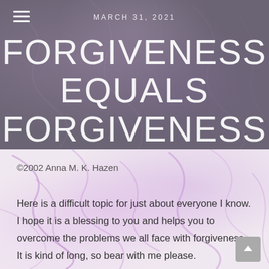MARCH 31, 2021
FORGIVENESS EQUALS FORGIVENESS
©2002 Anna M. K. Hazen
Here is a difficult topic for just about everyone I know. I hope it is a blessing to you and helps you to overcome the problems we all face with forgiveness. It is kind of long, so bear with me please.